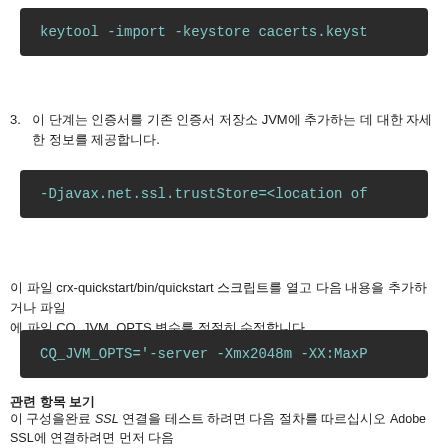[Figure (screenshot): Dark code block showing: keytool -import -keystore cacerts.keyst]
3. 이 단계는 인증서를 기존 인증서 저장소 JVM에 추가하는 데 대한 자세한 정보를 제공합니다.
[Figure (screenshot): Dark code block showing: -Djavax.net.ssl.trustStore=<location of]
이 파일 crx-quickstart/bin/quickstart 스크립트를 열고 다음 내용을 추가하거나 파일 CQ_JVM_OPTS 변수를 적절히 수정합니다.
[Figure (screenshot): Dark code block showing: CQ_JVM_OPTS='-server -Xmx2048m -XX:MaxP]
관련 항목 보기
이 구성을완료 SSL 연결을 테스트 하려면 다음 절차를 따르십시오 Adobe SSL에 연결하려면 먼저 다음 Adobe HTTP 서비스를 설정합니다.